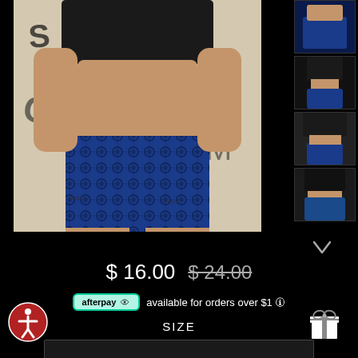[Figure (photo): Main product photo: woman wearing blue and black lace high-waist underwear/panties, black tied crop top, tattoos visible, graffiti wall background]
[Figure (photo): Thumbnail 1: close-up of blue lace panties on woman]
[Figure (photo): Thumbnail 2: woman in black top and blue lace panties, front view]
[Figure (photo): Thumbnail 3: woman in black top and blue lace panties, rear angle view]
[Figure (photo): Thumbnail 4: woman in black top and blue lace panties, back view]
$ 16.00  $ 24.00
afterpay  available for orders over $1
SIZE